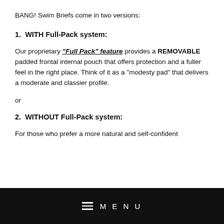BANG! Swim Briefs come in two versions:
1. WITH Full-Pack system:
Our proprietary "Full Pack" feature provides a REMOVABLE padded frontal internal pouch that offers protection and a fuller feel in the right place. Think of it as a "modesty pad" that delivers a moderate and classier profile.
or
2. WITHOUT Full-Pack system:
For those who prefer a more natural and self-confident
MENU